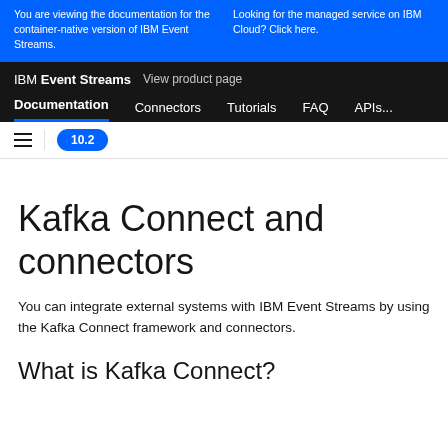You are viewing the documentation for the container-native version of IBM Event Streams. | Looking for the managed service on IBM Cloud? Click here.
IBM Event Streams  View product page
Documentation  Connectors  Tutorials  FAQ  APIs...
10.2
Kafka Connect and connectors
You can integrate external systems with IBM Event Streams by using the Kafka Connect framework and connectors.
What is Kafka Connect?